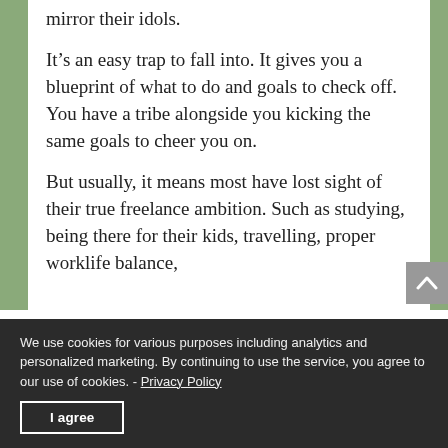mirror their idols.
It’s an easy trap to fall into. It gives you a blueprint of what to do and goals to check off. You have a tribe alongside you kicking the same goals to cheer you on.
But usually, it means most have lost sight of their true freelance ambition. Such as studying, being there for their kids, travelling, proper worklife balance,
We use cookies for various purposes including analytics and personalized marketing. By continuing to use the service, you agree to our use of cookies. - Privacy Policy
I agree